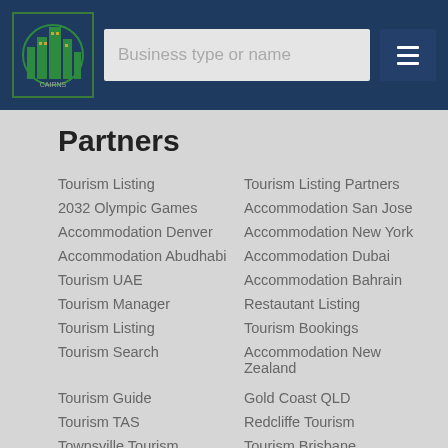Business type or name
Partners
Tourism Listing
Tourism Listing Partners
2032 Olympic Games
Accommodation San Jose
Accommodation Denver
Accommodation New York
Accommodation Abudhabi
Accommodation Dubai
Tourism UAE
Accommodation Bahrain
Tourism Manager
Restautant Listing
Tourism Listing
Tourism Bookings
Tourism Search
Accommodation New Zealand
Tourism Guide
Gold Coast QLD
Tourism TAS
Redcliffe Tourism
Townsville Tourism
Tourism Brisbane
Tourism Cairns
Whitsundays Tourism
Sunshine Coast Tourism
Tourism Adelaide